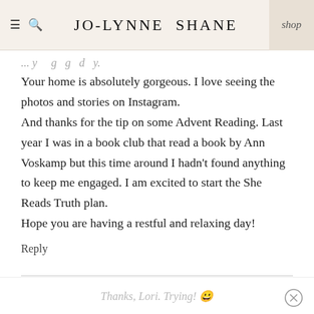JO-LYNNE SHANE | shop
Your home is absolutely gorgeous. I love seeing the photos and stories on Instagram.
And thanks for the tip on some Advent Reading. Last year I was in a book club that read a book by Ann Voskamp but this time around I hadn't found anything to keep me engaged. I am excited to start the She Reads Truth plan.
Hope you are having a restful and relaxing day!
Reply
JO-LYNNE SHANE
Thanks, Lori. Trying! 🙂